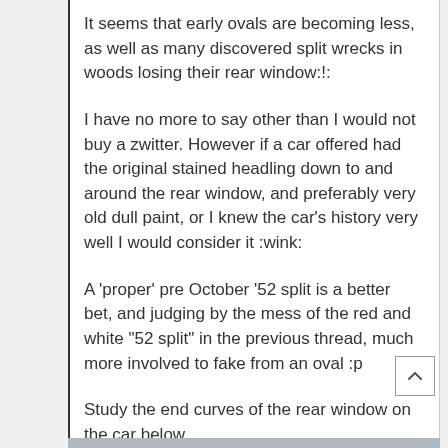It seems that early ovals are becoming less, as well as many discovered split wrecks in woods losing their rear window:!:
I have no more to say other than I would not buy a zwitter. However if a car offered had the original stained headling down to and around the rear window, and preferably very old dull paint, or I knew the car's history very well I would consider it :wink:
A 'proper' pre October '52 split is a better bet, and judging by the mess of the red and white "52 split" in the previous thread, much more involved to fake from an oval :p
Study the end curves of the rear window on the car below...